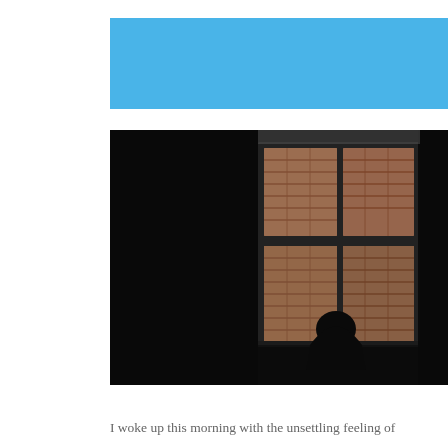[Figure (other): Solid sky-blue rectangle banner at top of page]
[Figure (photo): Dark, moody photograph of a person silhouetted against a window with four panes, looking out at a brick building exterior. The room is very dark, the figure is in shadow, and daylight comes through the window illuminating the brick facade outside.]
I woke up this morning with the unsettling feeling of